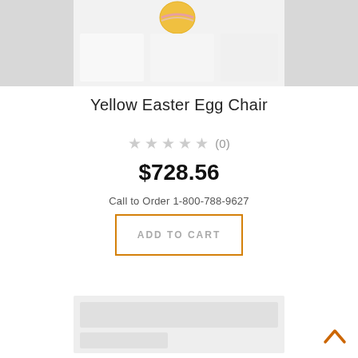[Figure (photo): Product image area showing a Yellow Easter Egg Chair with white cube-shaped items below it, on a light gray background]
Yellow Easter Egg Chair
★★★★★ (0)
$728.56
Call to Order 1-800-788-9627
ADD TO CART
[Figure (screenshot): Bottom section with gray placeholder content blocks]